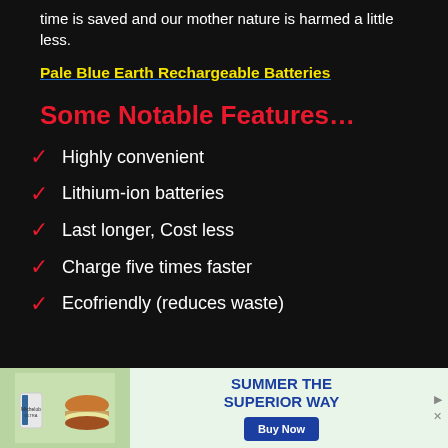time is saved and our mother nature is harmed a little less.
Pale Blue Earth Rechargeable Batteries
Some Notable Features…
Highly convenient
Lithium-ion batteries
Last longer, Cost less
Charge five times faster
Ecofriendly (reduces waste)
[Figure (photo): Advertisement banner showing a burger and beer with text SUMMER THE SUPERIOR WAY and a Buy Now button]